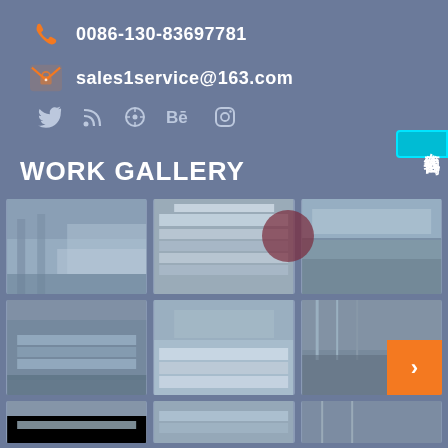0086-130-83697781
sales1service@163.com
[Figure (other): Social media icons: Twitter, RSS, a circular icon, Behance, Instagram]
[Figure (other): Chinese online chat button (在线咨询) in cyan/teal color on right side]
WORK GALLERY
[Figure (photo): Steel factory interior, large warehouse with steel plates]
[Figure (photo): Stacked steel plates/sheets close-up]
[Figure (photo): Steel factory/warehouse interior long view]
[Figure (photo): Steel plates stacked in warehouse]
[Figure (photo): Steel sheets/plates close-up view]
[Figure (photo): Steel factory production line with orange navigation button]
[Figure (photo): Steel factory bottom row image 1 (partial)]
[Figure (photo): Steel factory bottom row image 2 (partial)]
[Figure (photo): Steel factory bottom row image 3 (partial)]